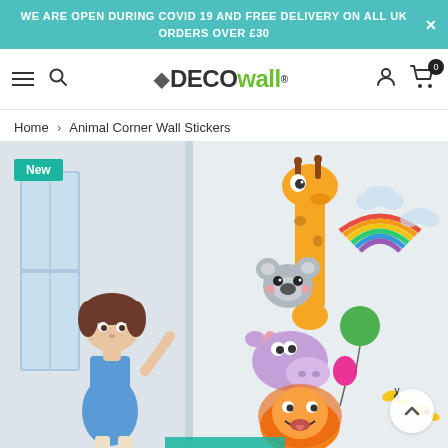WE ARE OPEN DURING COVID 19 AND FREE DELIVERY ON ALL UK ORDERS OVER £30
[Figure (screenshot): DECOwall website navigation bar with hamburger menu, search icon, DECOwall logo, user account icon, and shopping cart with 0 items badge]
Home › Animal Corner Wall Stickers
[Figure (photo): Product page image showing Animal Corner Wall Stickers with a toddler girl looking at colorful cartoon animal wall stickers including a giraffe, koala, hippo, lion, and elephant, with rainbow and cloud stickers. A 'New' badge is shown in the top-left corner.]